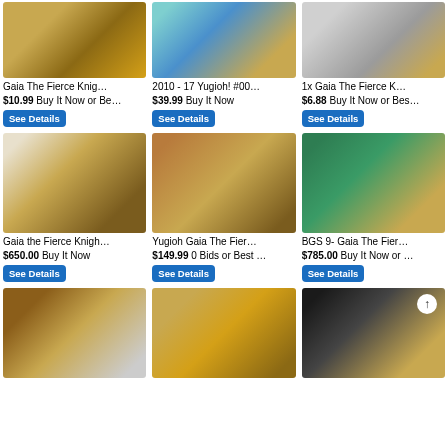[Figure (photo): Yugioh card - Gaia The Fierce Knight, gold bordered card on rocky background]
Gaia The Fierce Knig…
$10.99 Buy It Now or Be…
[Figure (photo): 2010-17 Yugioh card with holographic/rainbow effect]
2010 - 17 Yugioh! #00…
$39.99 Buy It Now
[Figure (photo): Gaia The Fierce Knight card on grey background]
1x Gaia The Fierce K…
$6.88 Buy It Now or Bes…
[Figure (photo): PSA graded Gaia the Fierce Knight card in protective case, hand holding it]
Gaia the Fierce Knigh…
$650.00 Buy It Now
[Figure (photo): PSA graded Yugioh Gaia The Fierce Knight card in slab on brown table]
Yugioh Gaia The Fier…
$149.99 0 Bids or Best …
[Figure (photo): BGS 9 graded Gaia The Fierce Knight card in teal/green background]
BGS 9- Gaia The Fier…
$785.00 Buy It Now or …
[Figure (photo): Graded Gaia the Fierce Knight card in brown background]
[Figure (photo): Gaia The Fierce Knight ungraded card on white background]
[Figure (photo): Graded Gaia The Fierce Knight card on black background with white arrow]